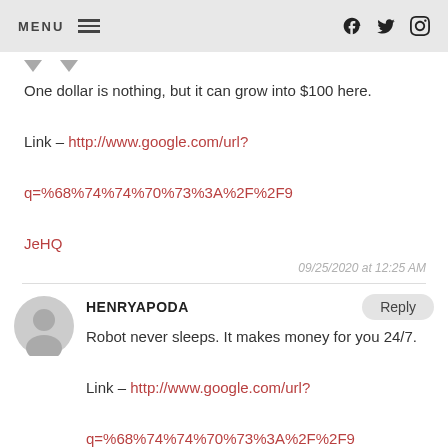MENU
One dollar is nothing, but it can grow into $100 here.
Link – http://www.google.com/url?q=%68%74%74%70%73%3A%2F%2F9JeHQ
09/25/2020 at 12:25 AM
HENRYAPODA
Robot never sleeps. It makes money for you 24/7.
Link – http://www.google.com/url?q=%68%74%74%70%73%3A%2F%2F9
09/28/2020 at 1:16 PM